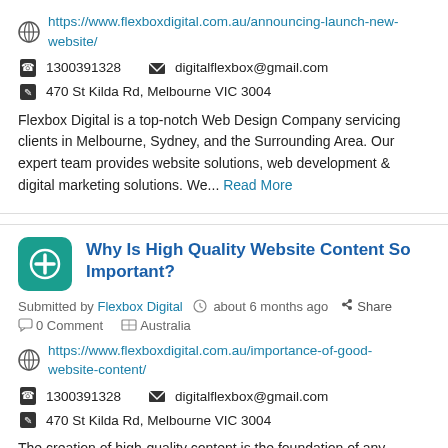https://www.flexboxdigital.com.au/announcing-launch-new-website/
1300391328   digitalflexbox@gmail.com
470 St Kilda Rd, Melbourne VIC 3004
Flexbox Digital is a top-notch Web Design Company servicing clients in Melbourne, Sydney, and the Surrounding Area. Our expert team provides website solutions, web development & digital marketing solutions. We... Read More
Why Is High Quality Website Content So Important?
Submitted by Flexbox Digital   about 6 months ago   Share
0 Comment   Australia
https://www.flexboxdigital.com.au/importance-of-good-website-content/
1300391328   digitalflexbox@gmail.com
470 St Kilda Rd, Melbourne VIC 3004
The creation of high-quality content is the foundation of any website & its UI UX structure. High-Quality content helps to reach the right